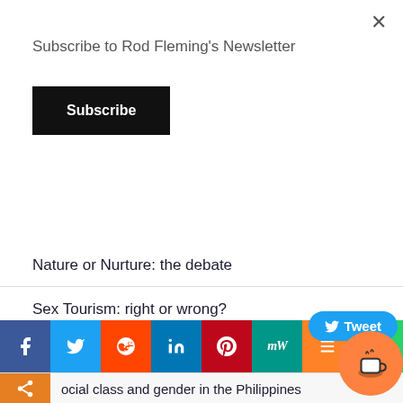Subscribe to Rod Fleming's Newsletter
Subscribe
Nature or Nurture: the debate
Sex Tourism: right or wrong?
Gateways to Heaven: Ladyboy bars
2001 Panoramas at Ethie Woods, Angus
Travels with a ladyboy: Video diary 001
The free sex market and why feminists hate it
ocial class and gender in the Philippines